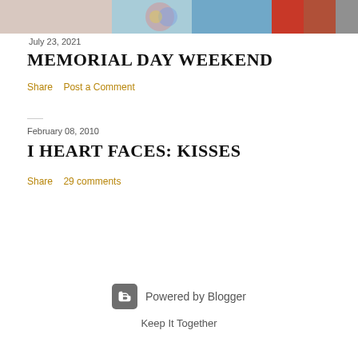[Figure (photo): Cropped photo of people, partially visible at top of page]
July 23, 2021
MEMORIAL DAY WEEKEND
Share    Post a Comment
February 08, 2010
I HEART FACES: KISSES
Share    29 comments
Powered by Blogger
Keep It Together